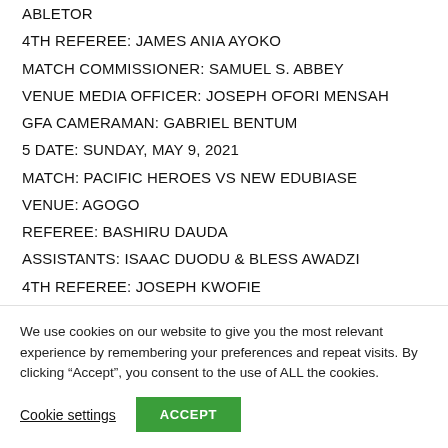ABLETOR
4TH REFEREE: JAMES ANIA AYOKO
MATCH COMMISSIONER: SAMUEL S. ABBEY
VENUE MEDIA OFFICER: JOSEPH OFORI MENSAH
GFA CAMERAMAN: GABRIEL BENTUM
5 DATE: SUNDAY, MAY 9, 2021
MATCH: PACIFIC HEROES VS NEW EDUBIASE
VENUE: AGOGO
REFEREE: BASHIRU DAUDA
ASSISTANTS: ISAAC DUODU & BLESS AWADZI
4TH REFEREE: JOSEPH KWOFIE
We use cookies on our website to give you the most relevant experience by remembering your preferences and repeat visits. By clicking “Accept”, you consent to the use of ALL the cookies.
Cookie settings   ACCEPT